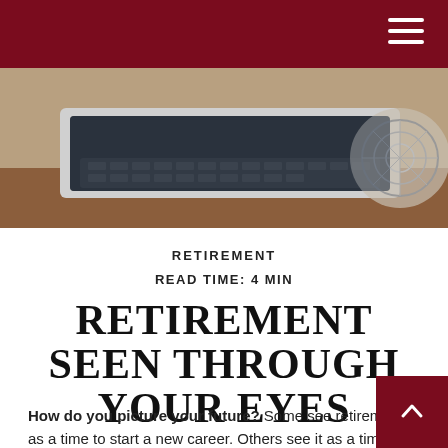[Figure (photo): Close-up photograph of a laptop keyboard on a wooden desk, with a fan visible in the background.]
RETIREMENT
READ TIME: 4 MIN
RETIREMENT SEEN THROUGH YOUR EYES
How do you picture your future? Some see retirement as a time to start a new career. Others see it as a time to travel. Still others plan to spend more time with family and friends. With that in mind, here are some things to consider.